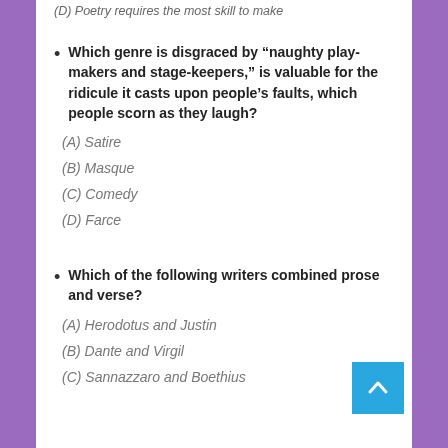(D) Poetry requires the most skill to make
Which genre is disgraced by “naughty play-makers and stage-keepers,” is valuable for the ridicule it casts upon people’s faults, which people scorn as they laugh?
(A) Satire
(B) Masque
(C) Comedy
(D) Farce
Which of the following writers combined prose and verse?
(A) Herodotus and Justin
(B) Dante and Virgil
(C) Sannazzaro and Boethius